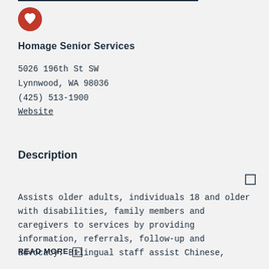[Figure (logo): Red circle with white heart icon]
Homage Senior Services
5026 196th St SW
Lynnwood, WA 98036
(425) 513-1900
Website
Description
Assists older adults, individuals 18 and older with disabilities, family members and caregivers to services by providing information, referrals, follow-up and advocacy. Bilingual staff assist Chinese,
READ MORE ▷